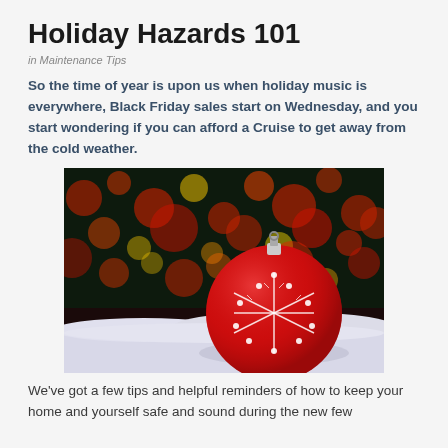Holiday Hazards 101
in Maintenance Tips
So the time of year is upon us when holiday music is everywhere, Black Friday sales start on Wednesday, and you start wondering if you can afford a Cruise to get away from the cold weather.
[Figure (photo): A red Christmas ornament ball with white snowflake design resting on white snow, with colorful bokeh holiday lights in the background.]
We've got a few tips and helpful reminders of how to keep your home and yourself safe and sound during the new few